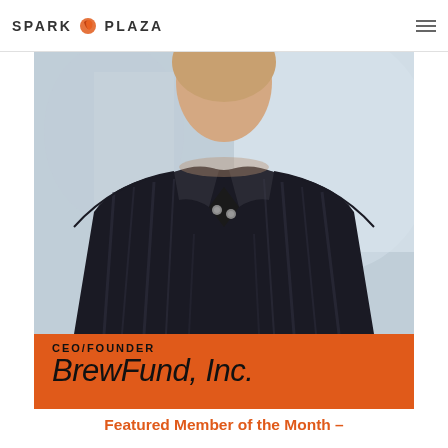SPARK PLAZA
[Figure (photo): Photo of a man wearing a dark striped polo shirt, cropped from shoulders up, with a blurred light background]
CEO/FOUNDER
BrewFund, Inc.
Featured Member of the Month –